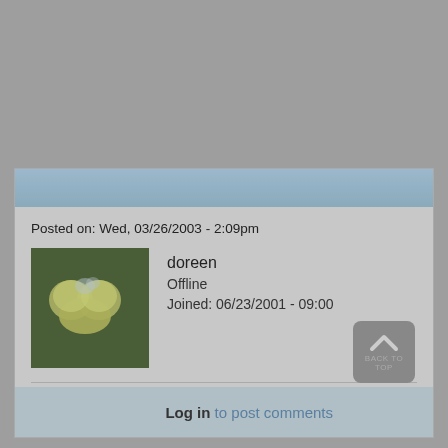Posted on: Wed, 03/26/2003 - 2:09pm
[Figure (photo): User avatar showing a heart shape formed by light-colored foliage against dark green background]
doreen
Offline
Joined: 06/23/2001 - 09:00
s
Log in to post comments